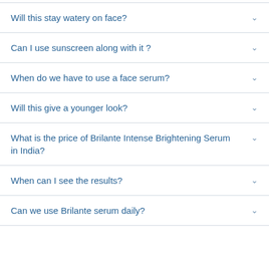Will this stay watery on face?
Can I use sunscreen along with it ?
When do we have to use a face serum?
Will this give a younger look?
What is the price of Brilante Intense Brightening Serum in India?
When can I see the results?
Can we use Brilante serum daily?